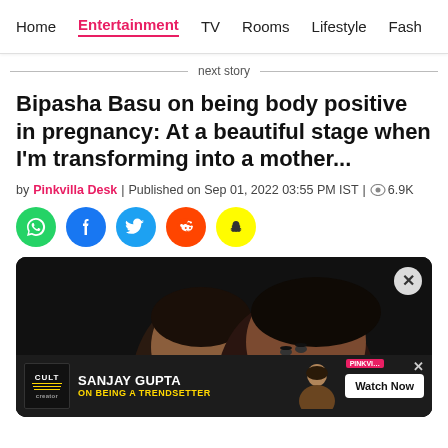Home | Entertainment | TV | Rooms | Lifestyle | Fash
next story
Bipasha Basu on being body positive in pregnancy: At a beautiful stage when I'm transforming into a mother...
by Pinkvilla Desk | Published on Sep 01, 2022 03:55 PM IST | 6.9K
[Figure (infographic): Social media share icons: WhatsApp (green), Facebook (blue), Twitter (light blue), Reddit (orange-red), Snapchat (yellow)]
[Figure (photo): Dark background photo showing two people close together, partially visible faces]
[Figure (infographic): Advertisement banner: Cult Creator logo, SANJAY GUPTA ON BEING A TRENDSETTER, Watch Now button, Pinkvilla badge, close X]